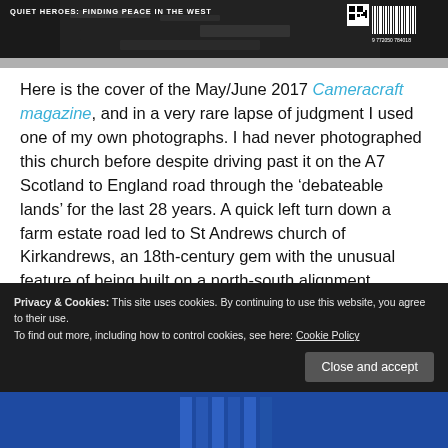[Figure (photo): Top strip showing a magazine cover with dark/black and white imagery, text 'QUIET HEROES: FINDING PEACE IN THE WEST' and a barcode on the right side]
Here is the cover of the May/June 2017 Cameracraft magazine, and in a very rare lapse of judgment I used one of my own photographs. I had never photographed this church before despite driving past it on the A7 Scotland to England road through the ‘debateable lands’ for the last 28 years. A quick left turn down a farm estate road led to St Andrews church of Kirkandrews, an 18th-century gem with the unusual feature of being built on a north-south alignment instead of east-west. This put the late March afternoon sun on to the south door and sundial.
Privacy & Cookies: This site uses cookies. By continuing to use this website, you agree to their use.
To find out more, including how to control cookies, see here: Cookie Policy
[Figure (photo): Bottom strip showing a blue-toned photograph, partial view of what appears to be architectural elements]